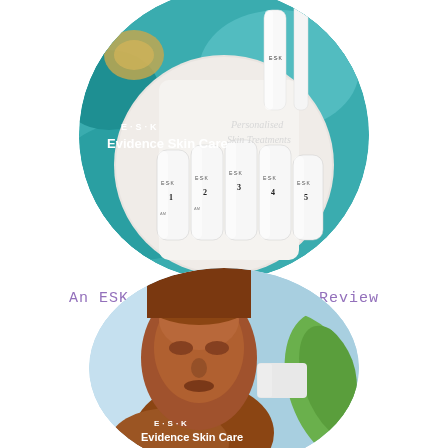[Figure (photo): Circular photo of multiple ESK Evidence Skin Care white product tubes numbered 1-5 arranged on a decorative plate with teal floral background. Text overlay reads 'E·S·K Evidence Skin Care' and 'Personalised Skin Treatments'.]
An ESK Evidence Skincare Review
[Figure (photo): Circular photo of a bronze/terracotta sculpture of a face with eyes closed, resting with an ESK Evidence Skin Care product tube and green leaf beside it. Text overlay reads 'E·S·K Evidence Skin Care'.]